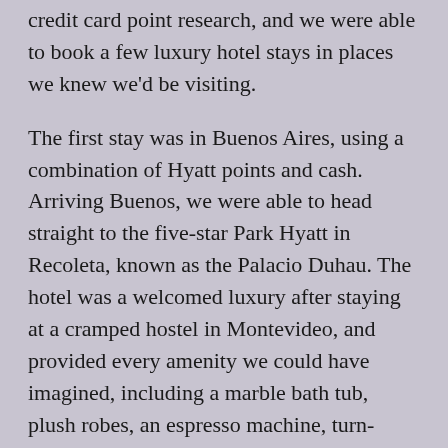credit card point research, and we were able to book a few luxury hotel stays in places we knew we'd be visiting.
The first stay was in Buenos Aires, using a combination of Hyatt points and cash. Arriving Buenos, we were able to head straight to the five-star Park Hyatt in Recoleta, known as the Palacio Duhau. The hotel was a welcomed luxury after staying at a cramped hostel in Montevideo, and provided every amenity we could have imagined, including a marble bath tub, plush robes, an espresso machine, turn-down service, and complimentary shoe shines, plus, three restaurants, an on-site florist, whiskey bar, and a beautiful terrace with tango performances each night.